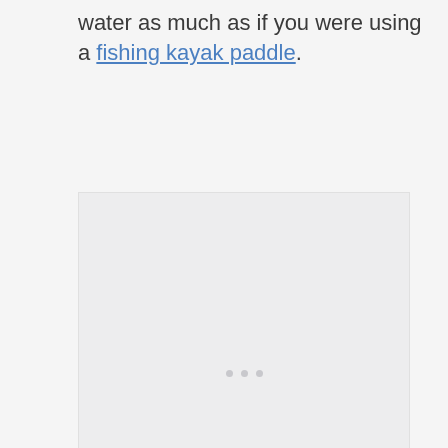water as much as if you were using a fishing kayak paddle.
[Figure (other): A large light gray placeholder image box with three small gray dots in the center, indicating an image loading or advertisement area.]
How to Turn This Into...